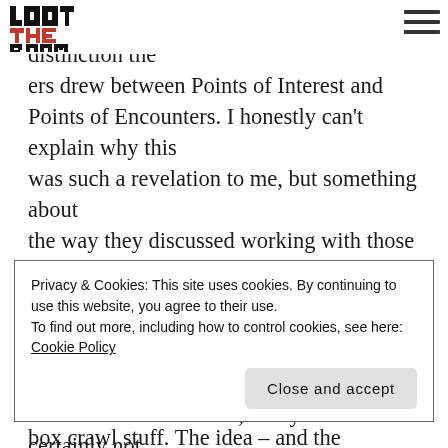[Figure (logo): Loot The Room blog logo — pixelated/blocky black and red text logo]
[Figure (other): Hamburger menu icon — three horizontal lines, top right corner]
Of particular interest to me was the distinction the ers drew between Points of Interest and Points of Encounters. I honestly can't explain why this was such a revelation to me, but something about the way they discussed working with those two systems made everything click together in my head, and suddenly I had a solution.
It's not a novel solution, really. It's certainly not something that I've “invented” myself, or whatever. In fact, it's going to draw on both video games and board games – specifically, Legacy-style board
Privacy & Cookies: This site uses cookies. By continuing to use this website, you agree to their use.
To find out more, including how to control cookies, see here:
Cookie Policy
Close and accept
box crawl stuff. The idea – and the problem – was